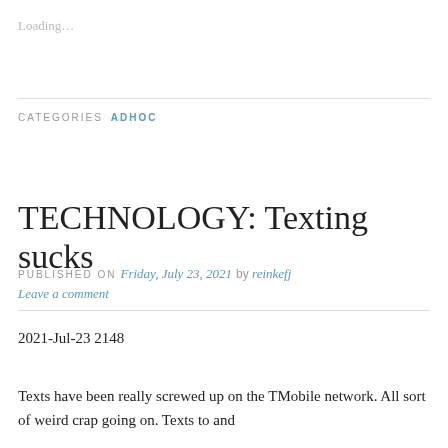Loading…
CATEGORIES ADHOC
TECHNOLOGY: Texting sucks
PUBLISHED ON Friday, July 23, 2021 by reinkefj Leave a comment
2021-Jul-23 2148
Texts have been really screwed up on the TMobile network. All sort of weird crap going on. Texts to and